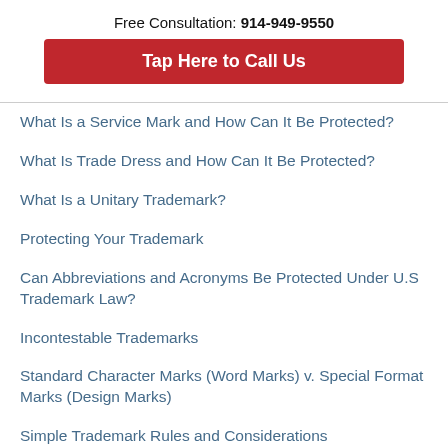Free Consultation: 914-949-9550
Tap Here to Call Us
What Is a Service Mark and How Can It Be Protected?
What Is Trade Dress and How Can It Be Protected?
What Is a Unitary Trademark?
Protecting Your Trademark
Can Abbreviations and Acronyms Be Protected Under U.S Trademark Law?
Incontestable Trademarks
Standard Character Marks (Word Marks) v. Special Format Marks (Design Marks)
Simple Trademark Rules and Considerations